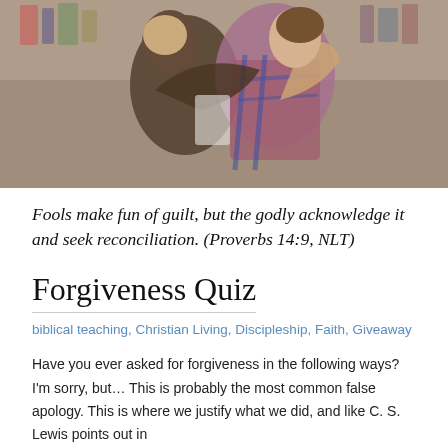[Figure (photo): Two people hugging each other warmly, one wearing a plaid shirt, photographed indoors with soft lighting.]
Fools make fun of guilt, but the godly acknowledge it and seek reconciliation. (Proverbs 14:9, NLT)
Forgiveness Quiz
biblical teaching, Christian Living, Discipleship, Faith, Giveaway
Have you ever asked for forgiveness in the following ways? I'm sorry, but… This is probably the most common false apology. This is where we justify what we did, and like C. S. Lewis points out in